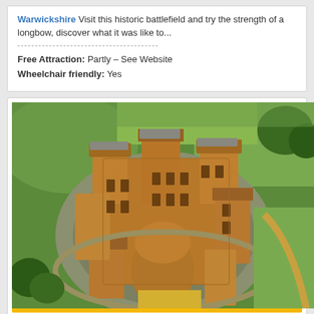Warwickshire Visit this historic battlefield and try the strength of a longbow, discover what it was like to...
Free Attraction: Partly – See Website
Wheelchair friendly: Yes
[Figure (photo): Aerial photograph of Belvoir Castle surrounded by green fields and trees, showing the castle's turrets, towers and circular arrangement of buildings]
Belvoir Castle - Gratham